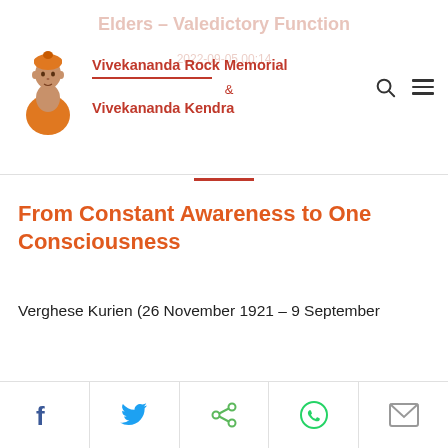Vivekananda Rock Memorial & Vivekananda Kendra
From Constant Awareness to One Consciousness
Verghese Kurien (26 November 1921 – 9 September
[Figure (infographic): Social share bar with Facebook, Twitter, Share, WhatsApp, and Email icons]